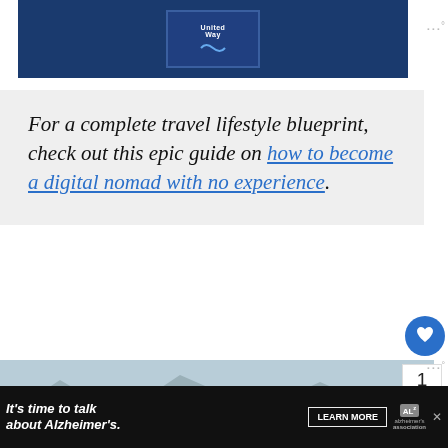[Figure (screenshot): Dark blue banner with United Way logo (shield icon) in center top]
For a complete travel lifestyle blueprint, check out this epic guide on how to become a digital nomad with no experience.
[Figure (photo): Person with arms outstretched on car in front of lake and mountains with trees]
[Figure (screenshot): What's Next card showing 'How to Become a...' with thumbnail of tropical image]
[Figure (screenshot): Advertisement bar: It's time to talk about Alzheimer's. LEARN MORE. Alzheimer's association logo.]